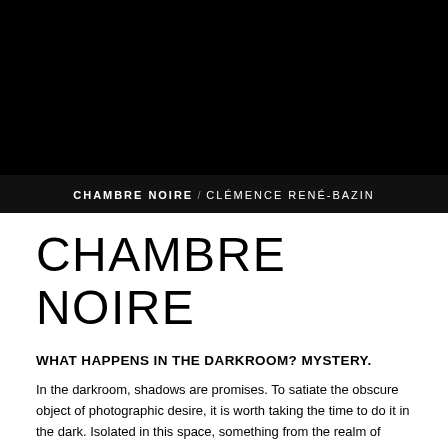[Figure (photo): Dark black background image, appears to be a darkroom or dark atmospheric photograph]
CHAMBRE NOIRE  CLÉMENCE RENÉ-BAZIN
CHAMBRE NOIRE
WHAT HAPPENS IN THE DARKROOM? MYSTERY.
In the darkroom, shadows are promises. To satiate the obscure object of photographic desire, it is worth taking the time to do it in the dark. Isolated in this space, something from the realm of intimacy and secrecy occurs. A lover's ritual takes shape. Patience and attention are required for the enchantment to happen, for the dark to